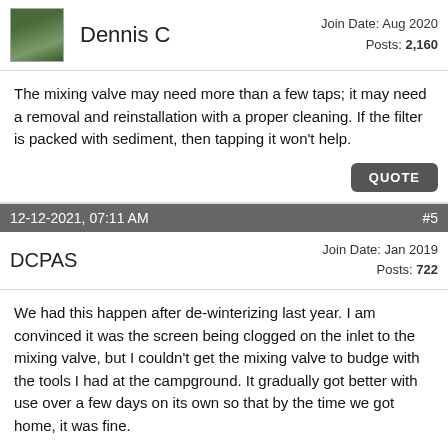Dennis C
Join Date: Aug 2020
Posts: 2,160
The mixing valve may need more than a few taps; it may need a removal and reinstallation with a proper cleaning. If the filter is packed with sediment, then tapping it won't help.
QUOTE
12-12-2021, 07:11 AM
#5
DCPAS
Join Date: Jan 2019
Posts: 722
We had this happen after de-winterizing last year. I am convinced it was the screen being clogged on the inlet to the mixing valve, but I couldn't get the mixing valve to budge with the tools I had at the campground. It gradually got better with use over a few days on its own so that by the time we got home, it was fine.
My theory is that winterizing with compressed air and the water heater valve open stirs up the debris in the water heater tank and then, with the first use after de-winterizing, the screen is clogged. This year I am going to close the valve to the water heater prior to using